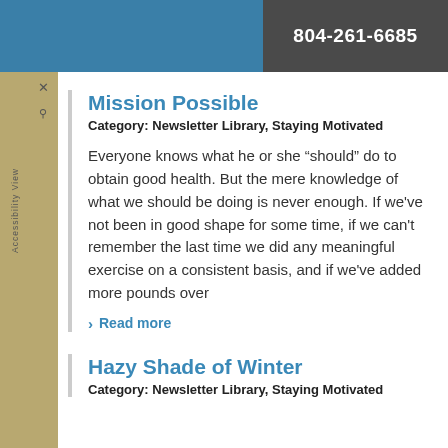804-261-6685
Mission Possible
Category: Newsletter Library, Staying Motivated
Everyone knows what he or she "should" do to obtain good health. But the mere knowledge of what we should be doing is never enough. If we've not been in good shape for some time, if we can't remember the last time we did any meaningful exercise on a consistent basis, and if we've added more pounds over
Read more
Hazy Shade of Winter
Category: Newsletter Library, Staying Motivated